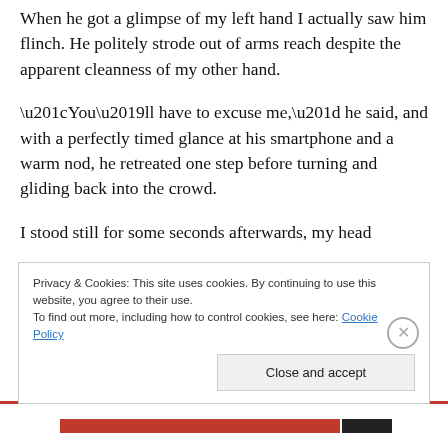When he got a glimpse of my left hand I actually saw him flinch. He politely strode out of arms reach despite the apparent cleanness of my other hand.
“You’ll have to excuse me,” he said, and with a perfectly timed glance at his smartphone and a warm nod, he retreated one step before turning and gliding back into the crowd.
I stood still for some seconds afterwards, my head
Privacy & Cookies: This site uses cookies. By continuing to use this website, you agree to their use.
To find out more, including how to control cookies, see here: Cookie Policy
Close and accept